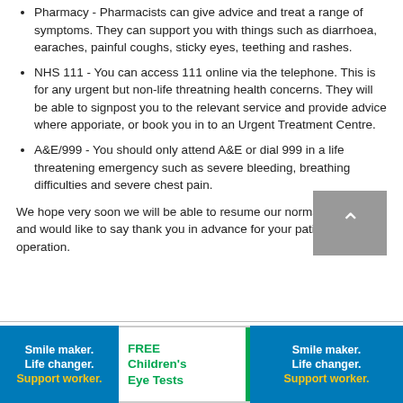Pharmacy - Pharmacists can give advice and treat a range of symptoms. They can support you with things such as diarrhoea, earaches, painful coughs, sticky eyes, teething and rashes.
NHS 111 - You can access 111 online via the telephone. This is for any urgent but non-life threatning health concerns. They will be able to signpost you to the relevant service and provide advice where apporiate, or book you in to an Urgent Treatment Centre.
A&E/999 - You should only attend A&E or dial 999 in a life threatening emergency such as severe bleeding, breathing difficulties and severe chest pain.
We hope very soon we will be able to resume our normal services and would like to say thank you in advance for your patience and co operation.
[Figure (logo): Smile maker. Life changer. Support worker. - blue banner advertisement]
[Figure (infographic): FREE Children's Eye Tests - white banner with green bar]
[Figure (logo): Smile maker. Life changer. Support worker. - blue banner advertisement]